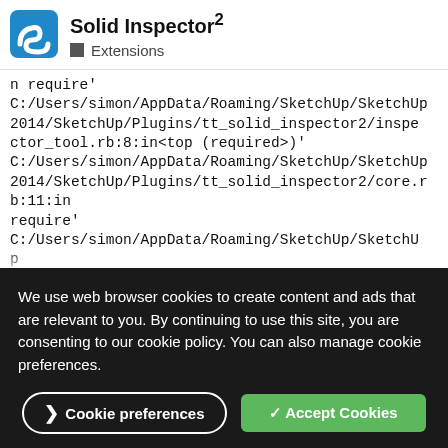Solid Inspector² — Extensions
n require'
C:/Users/simon/AppData/Roaming/SketchUp/SketchUp
2014/SketchUp/Plugins/tt_solid_inspector2/inspector_tool.rb:8:in<top (required)>'
C:/Users/simon/AppData/Roaming/SketchUp/SketchUp
2014/SketchUp/Plugins/tt_solid_inspector2/core.rb:11:in
require'
C:/Users/simon/AppData/Roaming/SketchUp/SketchUp
2014/SketchUp/Plugins/tt_solid_inspector2/core
We use web browser cookies to create content and ads that are relevant to you. By continuing to use this site, you are consenting to our cookie policy. You can also manage cookie preferences.
Cookie preferences
✓ Accept Cookies